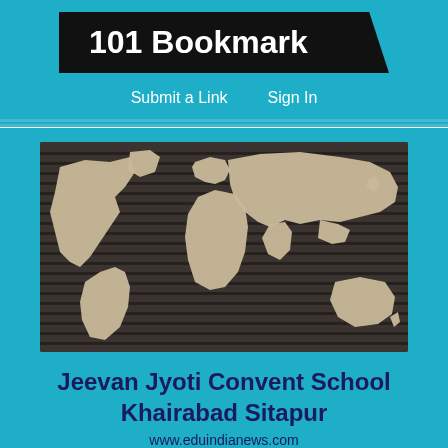101 Bookmark
Submit a Link    Sign In
[Figure (photo): World map relief image showing all continents in beige/cream color against a dark brown striped background panel]
Jeevan Jyoti Convent School Khairabad Sitapur
www.eduindianews.com